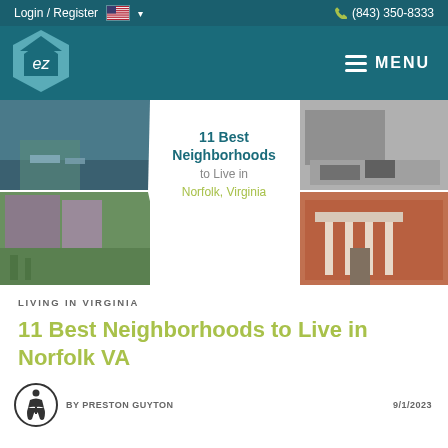Login / Register  (843) 350-8333
[Figure (logo): EZ home logo in teal hexagon shape with 'ez' text inside]
[Figure (photo): Hero image collage: waterfront scene top-left, urban park bottom-left, brick colonial building right side, with white chevron/diamond overlay in center containing text '11 Best Neighborhoods to Live in Norfolk, Virginia']
LIVING IN VIRGINIA
11 Best Neighborhoods to Live in Norfolk VA
BY PRESTON GUYTON   9/1/2023